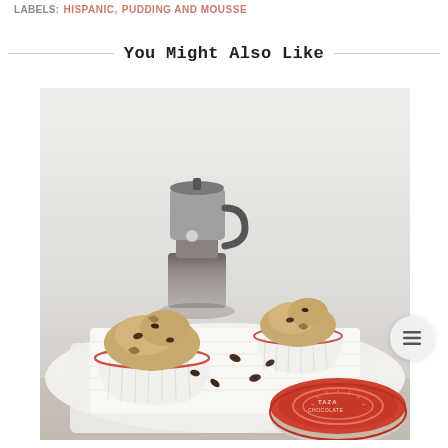Labels: HISPANIC, PUDDING AND MOUSSE
You Might Also Like
[Figure (photo): A styled food photo showing two white ramekins filled with cookie/ice cream scoops, a Bialetti stovetop espresso maker in the background, scattered coffee beans on a white cloth napkin, and a round Taza Chocolate disc in the foreground, on a wooden surface.]